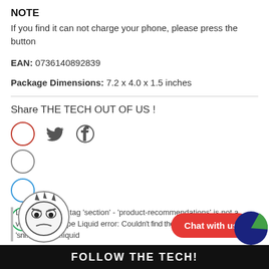NOTE
If you find it can not charge your phone, please press the button
EAN: 0736140892839
Package Dimensions: 7.2 x 4.0 x 1.5 inches
Share THE TECH OUT OF US !
[Figure (other): Social share icons: red circle, Twitter bird icon, Pinterest icon; then a column of blank, blue, and green circles below]
Liquid error in tag 'section' - 'product-recommendations' is not a valid section type Liquid error: Could not find the snippet 'sni...variant.liquid
[Figure (illustration): Angry/frustrated cartoon mascot face in circle]
[Figure (other): Chat with us red pill button]
[Figure (pie-chart): Partial pie chart in corner with blue and green slices]
FOLLOW THE TECH!